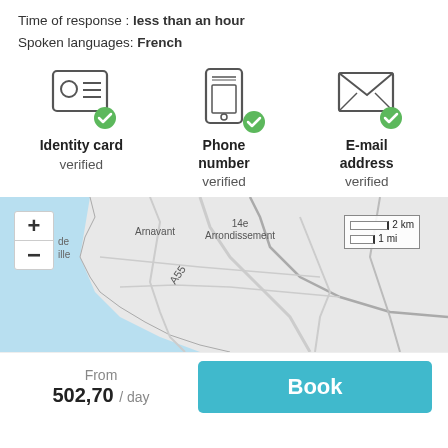Time of response : less than an hour
Spoken languages: French
[Figure (infographic): Three verification icons: Identity card verified, Phone number verified, E-mail address verified — each with a green checkmark badge]
[Figure (map): Street map showing Marseille area with Arnavant and 14e Arrondissement labels, zoom controls, scale bar showing 2km/1mi]
From 502,70 / day
Book